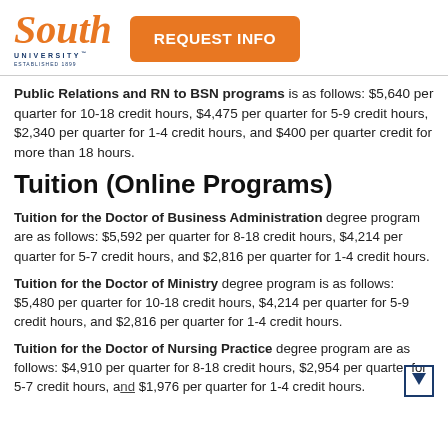[Figure (logo): South University logo with orange italic 'South' text and dark blue 'UNIVERSITY' subtitle, established 1899]
[Figure (other): Orange 'REQUEST INFO' button]
Public Relations and RN to BSN programs is as follows: $5,640 per quarter for 10-18 credit hours, $4,475 per quarter for 5-9 credit hours, $2,340 per quarter for 1-4 credit hours, and $400 per quarter credit for more than 18 hours.
Tuition (Online Programs)
Tuition for the Doctor of Business Administration degree program are as follows: $5,592 per quarter for 8-18 credit hours, $4,214 per quarter for 5-7 credit hours, and $2,816 per quarter for 1-4 credit hours.
Tuition for the Doctor of Ministry degree program is as follows: $5,480 per quarter for 10-18 credit hours, $4,214 per quarter for 5-9 credit hours, and $2,816 per quarter for 1-4 credit hours.
Tuition for the Doctor of Nursing Practice degree program are as follows: $4,910 per quarter for 8-18 credit hours, $2,954 per quarter for 5-7 credit hours, and $1,976 per quarter for 1-4 credit hours.